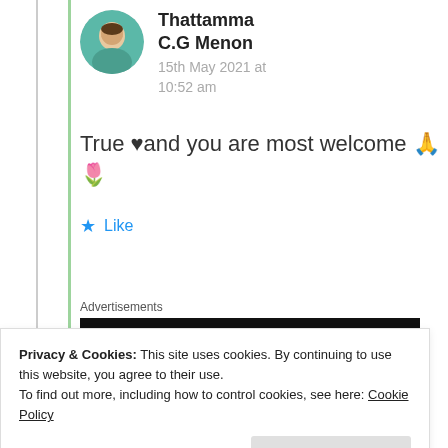Thattamma
C.G Menon
15th May 2021 at 10:52 am
True ♥and you are most welcome 🙏🌷
★ Like
Advertisements
[Figure (screenshot): Dark advertisement banner with sensei logo]
Privacy & Cookies: This site uses cookies. By continuing to use this website, you agree to their use.
To find out more, including how to control cookies, see here: Cookie Policy
Close and accept
[Figure (screenshot): Learn More button on dark background]